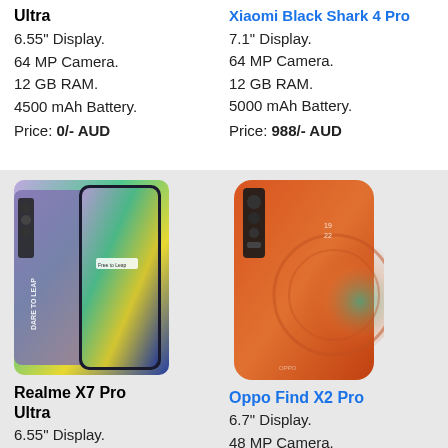Ultra
6.55" Display.
64 MP Camera.
12 GB RAM.
4500 mAh Battery.
Price: 0/- AUD
Xiaomi Black Shark 4 Pro
7.1" Display.
64 MP Camera.
12 GB RAM.
5000 mAh Battery.
Price: 988/- AUD
[Figure (photo): Realme X7 Pro Ultra smartphone image]
Realme X7 Pro Ultra
6.55" Display.
64 MP Camera.
12 GB RAM.
4500 mAh Battery.
Price: 0/- AUD
[Figure (photo): Oppo Find X2 Pro smartphone image]
Oppo Find X2 Pro
6.7" Display.
48 MP Camera.
12 GB RAM.
4260 mAh Battery.
Price: 1569/- AUD